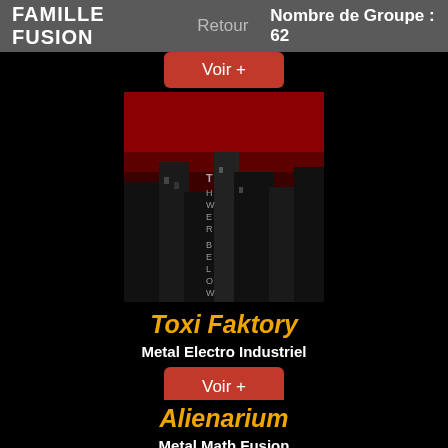FAMILLE FUSION   Retour   Nombre de Groupe : 62
[Figure (screenshot): Partial 'Voir +' red button at top (cut off)]
[Figure (illustration): Album cover art for Toxi Faktory - Tower Below: dark gothic image with red sky and tower/building silhouettes with text 'TOWER BELOW' vertically]
Toxi Faktory
Metal Electro Industriel
[Figure (screenshot): Red 'Voir +' button]
[Figure (illustration): Album cover art for Alienarium - cartoon illustration showing a man watching TV with children and a dog, with 'ALIENARIUM' text on the right side]
Alienarium
Metal Math Fusion